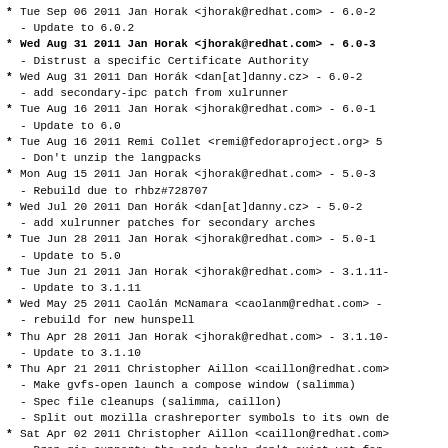Tue Sep 06 2011 Jan Horak <jhorak@redhat.com> - 6.0-2
  - Update to 6.0.2
Wed Aug 31 2011 Jan Horak <jhorak@redhat.com> - 6.0-3
  - Distrust a specific Certificate Authority
Wed Aug 31 2011 Dan Horak <dan[at]danny.cz> - 6.0-2
  - add secondary-ipc patch from xulrunner
Tue Aug 16 2011 Jan Horak <jhorak@redhat.com> - 6.0-1
  - Update to 6.0
Tue Aug 16 2011 Remi Collet <remi@fedoraproject.org> 5
  - Don't unzip the langpacks
Mon Aug 15 2011 Jan Horak <jhorak@redhat.com> - 5.0-3
  - Rebuild due to rhbz#728707
Wed Jul 20 2011 Dan Horak <dan[at]danny.cz> - 5.0-2
  - add xulrunner patches for secondary arches
Tue Jun 28 2011 Jan Horak <jhorak@redhat.com> - 5.0-1
  - Update to 5.0
Tue Jun 21 2011 Jan Horak <jhorak@redhat.com> - 3.1.11-
  - Update to 3.1.11
Wed May 25 2011 Caolan McNamara <caolanm@redhat.com> -
  - rebuild for new hunspell
Thu Apr 28 2011 Jan Horak <jhorak@redhat.com> - 3.1.10-
  - Update to 3.1.10
Thu Apr 21 2011 Christopher Aillon <caillon@redhat.com>
  - Make gvfs-open launch a compose window (salimma)
  - Spec file cleanups (salimma, caillon)
  - Split out mozilla crashreporter symbols to its own de
Sat Apr 02 2011 Christopher Aillon <caillon@redhat.com>
  - Drop gio support: the code hooks don't exist yet for
Fri Apr 01 2011 Orion Poplawski <orion@cora.nwra.com> -
  - Enable startup notification
Sun Mar 20 2011 Dan Horak <dan[at]danny.cz> - 3.1.9-4